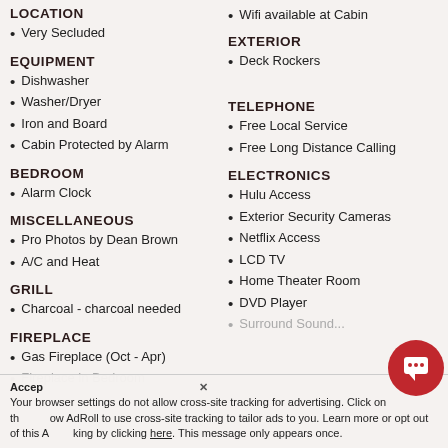LOCATION
Very Secluded
EQUIPMENT
Dishwasher
Washer/Dryer
Iron and Board
Cabin Protected by Alarm
BEDROOM
Alarm Clock
MISCELLANEOUS
Pro Photos by Dean Brown
A/C and Heat
GRILL
Charcoal - charcoal needed
FIREPLACE
Gas Fireplace (Oct - Apr)
Fireplace in Bedroom
EXTERIOR
Wifi available at Cabin
Deck Rockers
TELEPHONE
Free Local Service
Free Long Distance Calling
ELECTRONICS
Hulu Access
Exterior Security Cameras
Netflix Access
LCD TV
Home Theater Room
DVD Player
Surround Sound...
Your browser settings do not allow cross-site tracking for advertising. Click on the x below AdRoll to use cross-site tracking to tailor ads to you. Learn more or opt out of this AdRoll tracking by clicking here. This message only appears once.